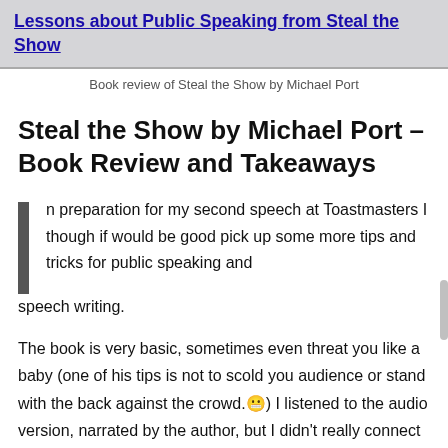Lessons about Public Speaking from Steal the Show
Book review of Steal the Show by Michael Port
Steal the Show by Michael Port – Book Review and Takeaways
n preparation for my second speech at Toastmasters I though if would be good pick up some more tips and tricks for public speaking and speech writing.
The book is very basic, sometimes even threat you like a baby (one of his tips is not to scold you audience or stand with the back against the crowd.😬) I listened to the audio version, narrated by the author, but I didn't really connect